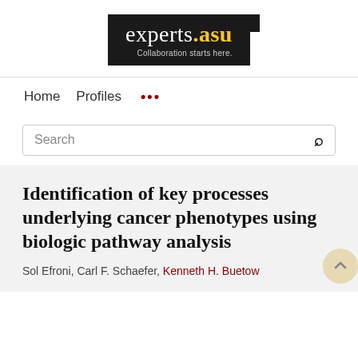[Figure (logo): experts.asu logo — black background rectangle with white 'experts' text, yellow '.asu' text, and gray 'Collaboration starts here.' subtitle, with a dark tab on top-right corner]
Home   Profiles   ...
Search
Identification of key processes underlying cancer phenotypes using biologic pathway analysis
Sol Efroni, Carl F. Schaefer, Kenneth H. Buetow